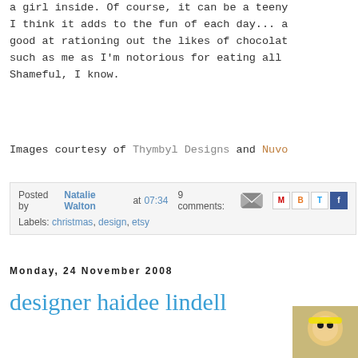a girl inside. Of course, it can be a teeny... I think it adds to the fun of each day... a good at rationing out the likes of chocolate such as me as I'm notorious for eating all Shameful, I know.
Images courtesy of Thymbyl Designs and Nuvo
Posted by Natalie Walton at 07:34  9 comments: Labels: christmas, design, etsy
Monday, 24 November 2008
designer haidee lindell